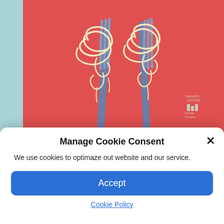[Figure (photo): Book cover image on red background showing two forks with pasta/noodles twirled around them, with a light blue strip on the left side. Hachette Cuisine and human humans publisher logos visible in bottom right of cover.]
Manage Cookie Consent
We use cookies to optimaze out website and our service.
Accept
Cookie Policy